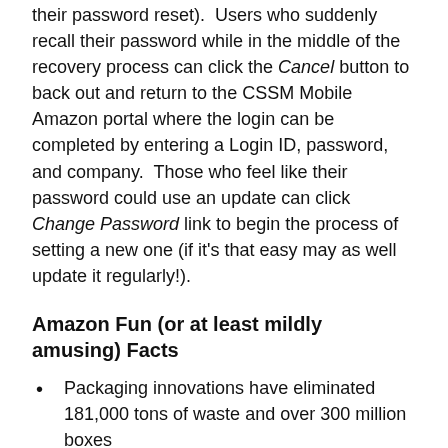their password reset). Users who suddenly recall their password while in the middle of the recovery process can click the Cancel button to back out and return to the CSSM Mobile Amazon portal where the login can be completed by entering a Login ID, password, and company. Those who feel like their password could use an update can click Change Password link to begin the process of setting a new one (if it's that easy may as well update it regularly!).
Amazon Fun (or at least mildly amusing) Facts
Packaging innovations have eliminated 181,000 tons of waste and over 300 million boxes
Currently installing solar panels on the roofs of fulfillment centers (harness those sun rays!)
In the year 2017 more than 300,000 United States business began selling through Amazon